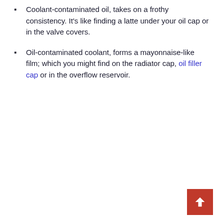Coolant-contaminated oil, takes on a frothy consistency. It's like finding a latte under your oil cap or in the valve covers.
Oil-contaminated coolant, forms a mayonnaise-like film; which you might find on the radiator cap, oil filler cap or in the overflow reservoir.